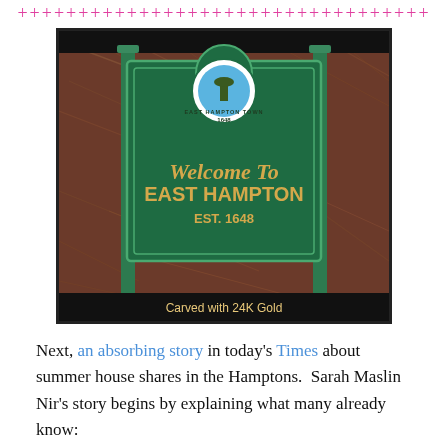++++++++++++++++++++++++++++++++
[Figure (photo): A green wooden welcome sign for East Hampton Town, established 1648. The sign reads 'Welcome To EAST HAMPTON EST. 1648' in gold lettering. A circular emblem at the top shows a windmill and reads 'EAST HAMPTON TOWN 1648'. A caption below the photo reads 'Carved with 24K Gold'.]
Carved with 24K Gold
Next, an absorbing story in today's Times about summer house shares in the Hamptons.  Sarah Maslin Nir's story begins by explaining what many already know: